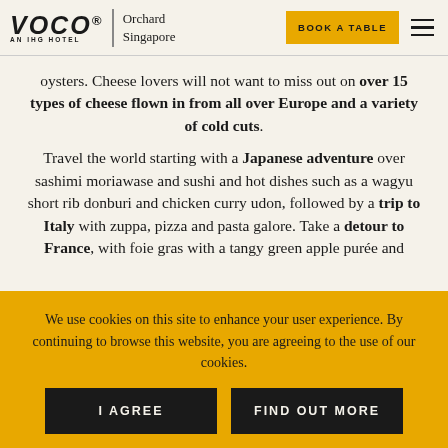VOCO | AN IHG HOTEL | Orchard Singapore | BOOK A TABLE
oysters. Cheese lovers will not want to miss out on over 15 types of cheese flown in from all over Europe and a variety of cold cuts.
Travel the world starting with a Japanese adventure over sashimi moriawase and sushi and hot dishes such as a wagyu short rib donburi and chicken curry udon, followed by a trip to Italy with zuppa, pizza and pasta galore. Take a detour to France, with foie gras with a tangy green apple purée and
We use cookies on this site to enhance your user experience. By continuing to browse this website, you are agreeing to the use of our cookies.
I AGREE
FIND OUT MORE